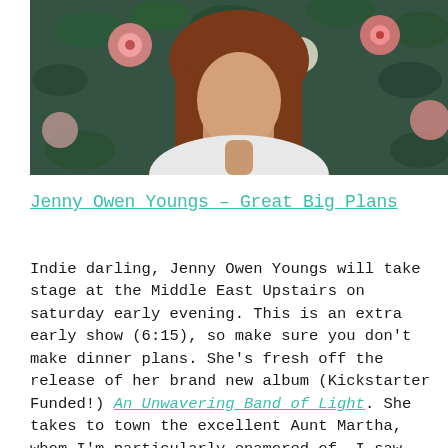[Figure (photo): A woman with long auburn hair photographed against a floral background with pink and white flowers on dark foliage. She is wearing a white top.]
Jenny Owen Youngs – Great Big Plans
Indie darling, Jenny Owen Youngs will take stage at the Middle East Upstairs on saturday early evening. This is an extra early show (6:15), so make sure you don't make dinner plans. She's fresh off the release of her brand new album (Kickstarter Funded!) An Unwavering Band of Light. She takes to town the excellent Aunt Martha, whom I'm particularly enamored of. I saw them in Austin during SXSW and they totally blew